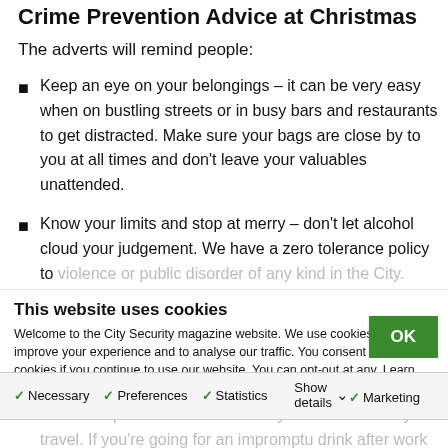Crime Prevention Advice at Christmas
The adverts will remind people:
Keep an eye on your belongings – it can be very easy when on bustling streets or in busy bars and restaurants to get distracted. Make sure your bags are close by to you at all times and don't leave your valuables unattended.
Know your limits and stop at merry – don't let alcohol cloud your judgement. We have a zero tolerance policy to violence or public disorder of any kind in the City.
Be aware of your surroundings and report anyone or anything that looks suspicious or out of place to a member of staff, security or police.
Events in the nearby area or bad weather can affect local transport routes. Make sure you check before you travel. If you're going for an impromptu drink after work with colleagues, plan how you're getting home first and don't
This website uses cookies
Welcome to the City Security magazine website. We use cookies to improve your experience and to analyse our traffic. You consent to our cookies if you continue to use our website. You can opt-out at any. Learn more in our Cookie Policy.